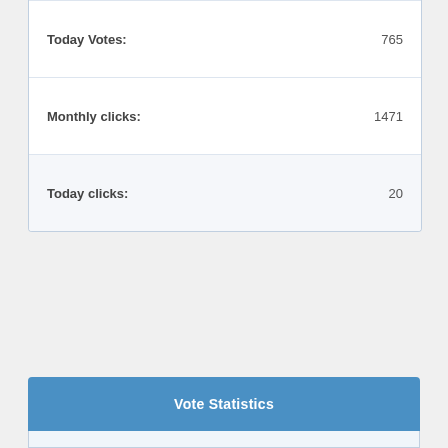| Today Votes: | 765 |
| Monthly clicks: | 1471 |
| Today clicks: | 20 |
Vote Statistics